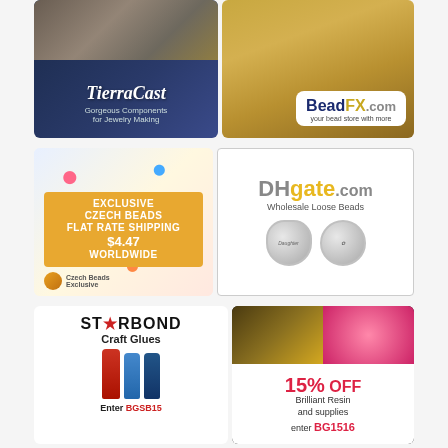[Figure (photo): TierraCast advertisement - Gorgeous Components for Jewelry Making, showing gold jewelry components on dark blue background]
[Figure (photo): BeadFX.com advertisement - your bead store with more, showing gold beads texture]
[Figure (photo): Czech Beads Exclusive advertisement - Exclusive Czech Beads Flat Rate Shipping $4.47 Worldwide, colorful beads background]
[Figure (photo): DHgate.com advertisement - Wholesale Loose Beads, showing two silver charm beads]
[Figure (photo): Starbond Craft Glues advertisement - Enter BGSB15, showing glue bottles]
[Figure (photo): Brilliant Resin advertisement - 15% OFF Brilliant Resin and supplies, enter BG1516, showing colorful eye close-ups]